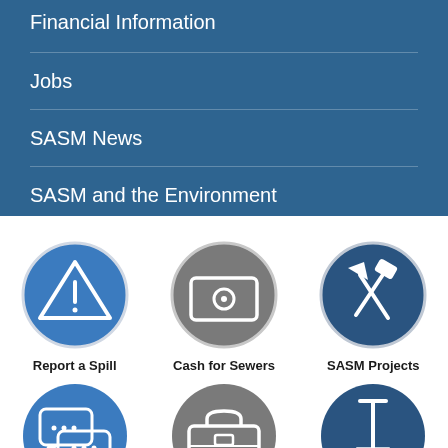Financial Information
Jobs
SASM News
SASM and the Environment
[Figure (illustration): Blue circular icon with warning triangle and exclamation mark]
Report a Spill
[Figure (illustration): Gray circular icon with cash/money symbol]
Cash for Sewers
[Figure (illustration): Dark blue circular icon with hammer and pick tools]
SASM Projects
[Figure (illustration): Blue circular icon with speech/chat bubbles]
[Figure (illustration): Gray circular icon with briefcase]
[Figure (illustration): Dark blue circular icon with shovel]